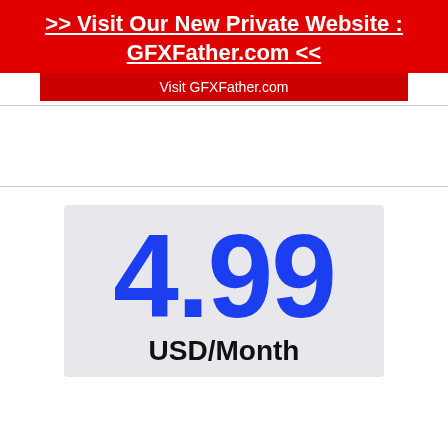>> Visit Our New Private Website : GFXFather.com <<
Visit GFXFather.com
[Figure (infographic): Price display showing 4.99 USD/Month in large blue text on a light gray background]
4.99
USD/Month